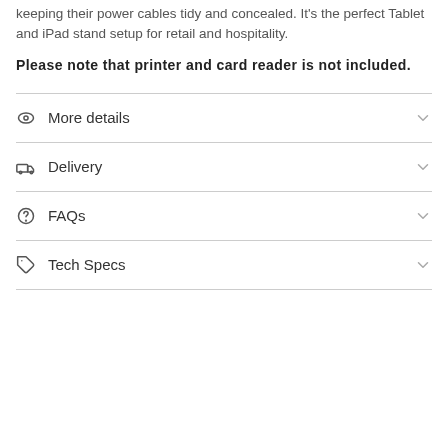keeping their power cables tidy and concealed. It's the perfect Tablet and iPad stand setup for retail and hospitality.
Please note that printer and card reader is not included.
More details
Delivery
FAQs
Tech Specs